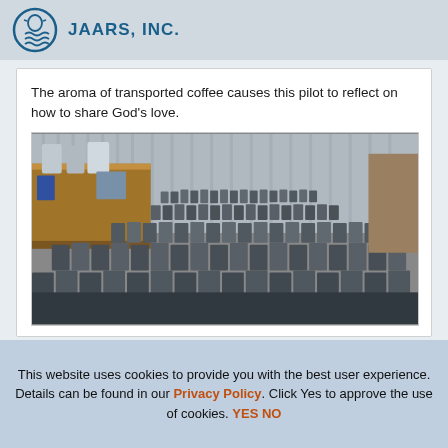JAARS, INC.
The aroma of transported coffee causes this pilot to reflect on how to share God’s love.
[Figure (photo): Rows of silver/metallic coffee bags arranged on tables in a warehouse or storage room. Wooden tables visible on the left side. Many bags fill the foreground extending into the background.]
This website uses cookies to provide you with the best user experience. Details can be found in our Privacy Policy. Click Yes to approve the use of cookies. YES NO